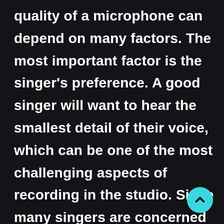quality of a microphone can depend on many factors. The most important factor is the singer's preference. A good singer will want to hear the smallest detail of their voice, which can be one of the most challenging aspects of recording in the studio. Since many singers are concerned with the quality of their recordings, they need a microphone that can capture their voice as well as possible.